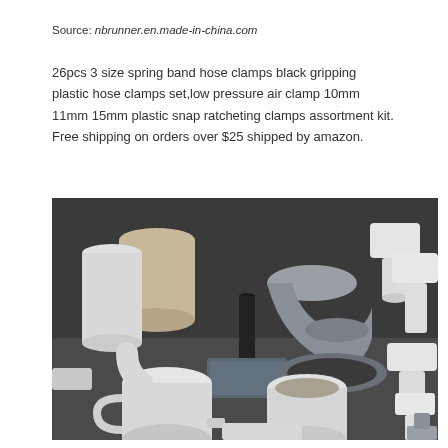Source: nbrunner.en.made-in-china.com
26pcs 3 size spring band hose clamps black gripping plastic hose clamps set,low pressure air clamp 10mm 11mm 15mm plastic snap ratcheting clamps assortment kit. Free shipping on orders over $25 shipped by amazon.
[Figure (photo): A collection of various plastic pipe fittings and connectors in white, grey, and beige colors arranged on a dark surface. The fittings include T-joints, elbows, couplings, and straight pipes of different sizes.]